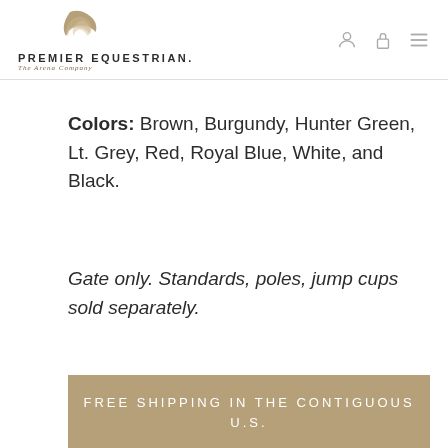PREMIER EQUESTRIAN. The Arena Company
Colors: Brown, Burgundy, Hunter Green, Lt. Grey, Red, Royal Blue, White, and Black.
Gate only. Standards, poles, jump cups sold separately.
FREE SHIPPING IN THE CONTIGUOUS U.S.
International Shipping: